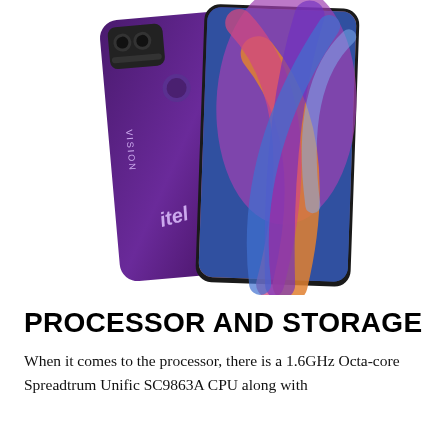[Figure (photo): Product photo of the itel Vision smartphone showing both front and back views. The back cover is in a gradient purple color with a dual camera module and itel logo. The front shows a colorful abstract wallpaper with swirling ribbons in blue, pink, purple, and orange.]
PROCESSOR AND STORAGE
When it comes to the processor, there is a 1.6GHz Octa-core Spreadtrum Unific SC9863A CPU along with